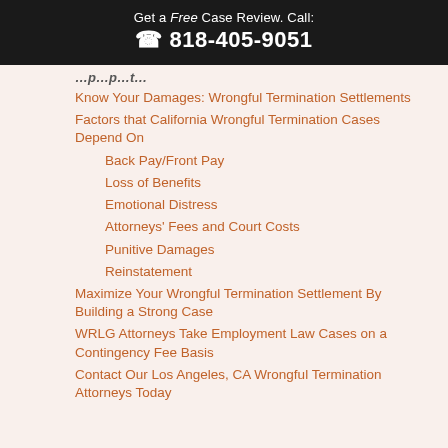Get a Free Case Review. Call: 818-405-9051
…p…p…t…
Know Your Damages: Wrongful Termination Settlements
Factors that California Wrongful Termination Cases Depend On
Back Pay/Front Pay
Loss of Benefits
Emotional Distress
Attorneys' Fees and Court Costs
Punitive Damages
Reinstatement
Maximize Your Wrongful Termination Settlement By Building a Strong Case
WRLG Attorneys Take Employment Law Cases on a Contingency Fee Basis
Contact Our Los Angeles, CA Wrongful Termination Attorneys Today